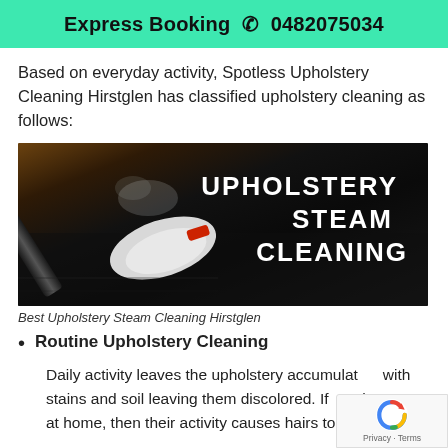Express Booking 📞 0482075034
Based on everyday activity, Spotless Upholstery Cleaning Hirstglen has classified upholstery cleaning as follows:
[Figure (photo): Dark upholstered couch being steam cleaned with a handheld steam cleaner nozzle, with text overlay reading UPHOLSTERY STEAM CLEANING]
Best Upholstery Steam Cleaning Hirstglen
Routine Upholstery Cleaning
Daily activity leaves the upholstery accumulating with stains and soil leaving them discolored. If you have pets at home, then their activity causes hairs to